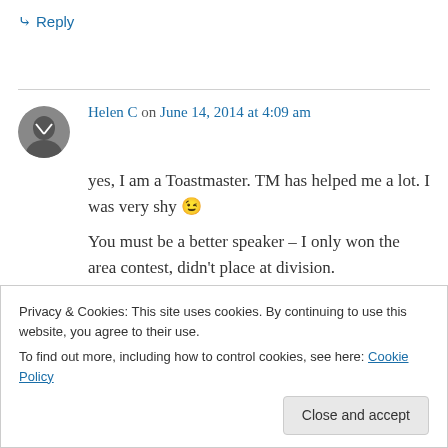↳ Reply
Helen C on June 14, 2014 at 4:09 am
yes, I am a Toastmaster. TM has helped me a lot. I was very shy 😉
You must be a better speaker – I only won the area contest, didn't place at division.
Privacy & Cookies: This site uses cookies. By continuing to use this website, you agree to their use.
To find out more, including how to control cookies, see here: Cookie Policy